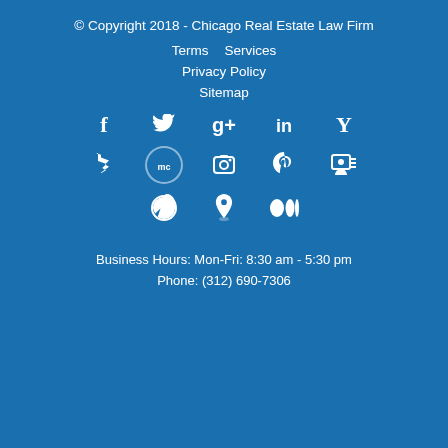© Copyright 2018 - Chicago Real Estate Law Firm
Terms   Services
Privacy Policy
Sitemap
[Figure (other): Row of social media icons: Facebook, Twitter, Google+, LinkedIn, Yelp]
[Figure (other): Row of social media icons: Bing, Manta, camera/instagram, Pinterest, SlideShare]
[Figure (other): Row of social media icons: WordPress, location pin, Medium]
Business Hours: Mon-Fri: 8:30 am - 5:30 pm
Phone: (312) 690-7306